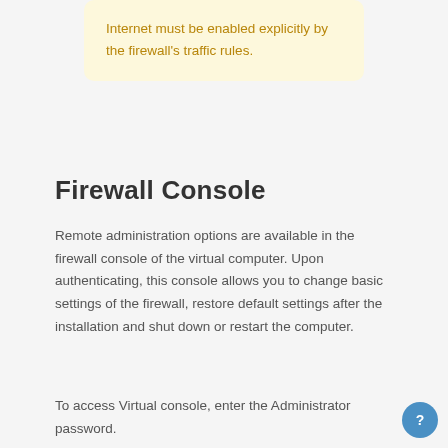Internet must be enabled explicitly by the firewall's traffic rules.
Firewall Console
Remote administration options are available in the firewall console of the virtual computer. Upon authenticating, this console allows you to change basic settings of the firewall, restore default settings after the installation and shut down or restart the computer.
To access Virtual console, enter the Administrator password.